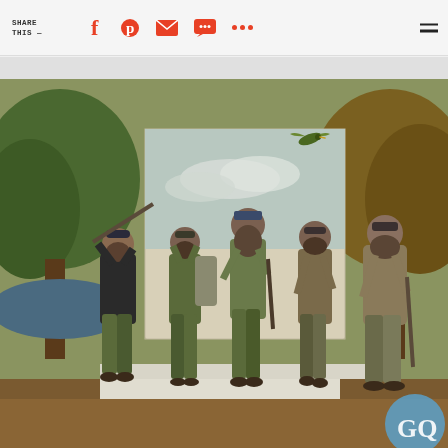SHARE THIS —
[Figure (photo): Screenshot of a GQ magazine webpage showing the Duck Dynasty cast (five bearded men in camouflage hunting gear) posed outdoors and on a white backdrop, with one man aiming a shotgun skyward at a duck. Social share icons and GQ logo watermark visible.]